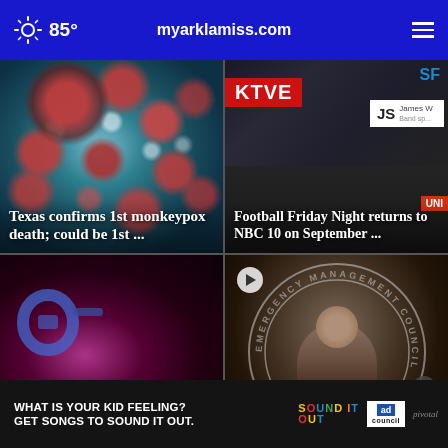85° myarklamiss.com
[Figure (photo): Microscopic virus cells (monkeypox) in red and blue tones with white highlights]
Texas confirms 1st monkeypox death; could be 1st ...
[Figure (screenshot): KTVE news broadcast screenshot with JS James W lower-third graphic and crowd in background]
Football Friday Night returns to NBC 10 on September ...
[Figure (photo): Blue handcuffs on dark red background]
We ...
[Figure (photo): Man with glasses at emergency management podium with play button overlay and close button]
[Figure (photo): Ad banner: WHAT IS YOUR KID FEELING? GET SONGS TO SOUND IT OUT. Sound It Out, Ad Council, Pivotal logos]